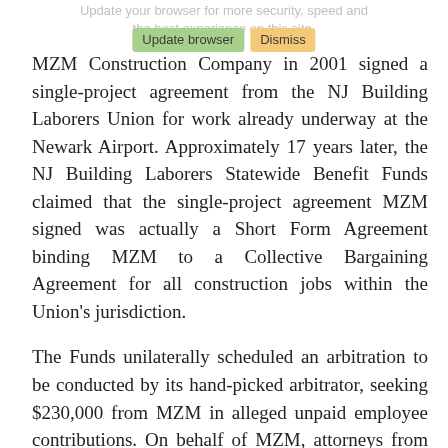Update your browser for more security, speed and the best experience on this site.
MZM Construction Company in 2001 signed a single-project agreement from the NJ Building Laborers Union for work already underway at the Newark Airport. Approximately 17 years later, the NJ Building Laborers Statewide Benefit Funds claimed that the single-project agreement MZM signed was actually a Short Form Agreement binding MZM to a Collective Bargaining Agreement for all construction jobs within the Union's jurisdiction.
The Funds unilaterally scheduled an arbitration to be conducted by its hand-picked arbitrator, seeking $230,000 from MZM in alleged unpaid employee contributions. On behalf of MZM, attorneys from Brach Eichler, Anthony Rainone and Eric Magnelli, sought and obtained a preliminary injunction from the District of New Jersey temporarily enjoining arbitration. They argued that because the purported SFA was void due to fraud-in-the-execution, the court must determine if the SFA is